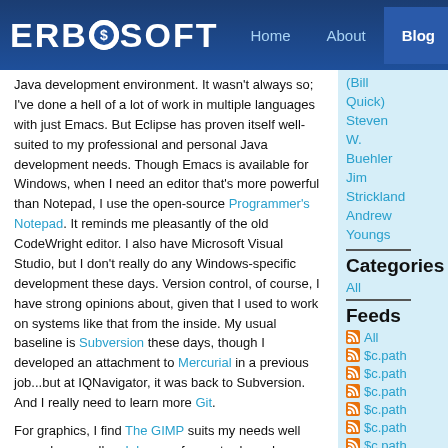ERBOSOFT — Home | About | Blog
Java development environment. It wasn't always so; I've done a hell of a lot of work in multiple languages with just Emacs. But Eclipse has proven itself well-suited to my professional and personal Java development needs. Though Emacs is available for Windows, when I need an editor that's more powerful than Notepad, I use the open-source Programmer's Notepad. It reminds me pleasantly of the old CodeWright editor. I also have Microsoft Visual Studio, but I don't really do any Windows-specific development these days. Version control, of course, I have strong opinions about, given that I used to work on systems like that from the inside. My usual baseline is Subversion these days, though I developed an attachment to Mercurial in a previous job...but at IQNavigator, it was back to Subversion. And I really need to learn more Git.
For graphics, I find The GIMP suits my needs well enough, as well as Inkscape for vector-based graphics. For audio work, Audacity works
(Bill Quick)
Steven W. Buehler
Jim Strickland
Andrew Youngs
Categories
All
Feeds
All
$c.path
$c.path
$c.path
$c.path
$c.path
$c.path
$c.path